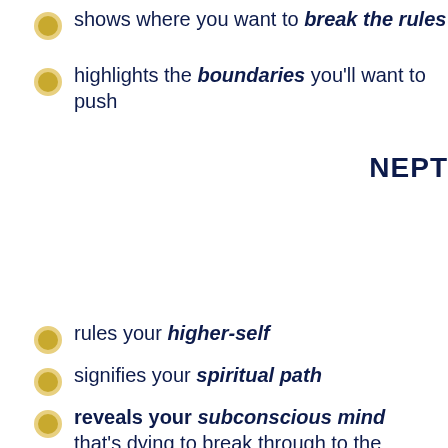shows where you want to break the rules
highlights the boundaries you'll want to push
NEPT
rules your higher-self
signifies your spiritual path
reveals your subconscious mind that's dying to break through to the